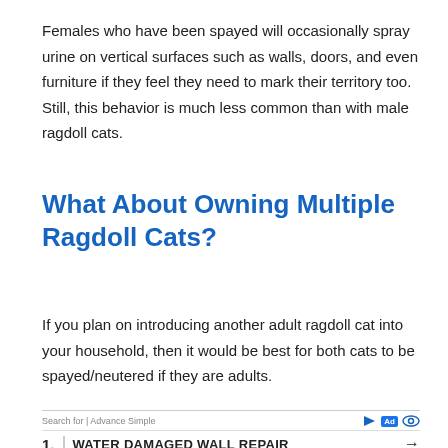Females who have been spayed will occasionally spray urine on vertical surfaces such as walls, doors, and even furniture if they feel they need to mark their territory too. Still, this behavior is much less common than with male ragdoll cats.
What About Owning Multiple Ragdoll Cats?
If you plan on introducing another adult ragdoll cat into your household, then it would be best for both cats to be spayed/neutered if they are adults.
[Figure (other): Advertisement bar with 'Search for | Advance Simple' text and icons, followed by a sponsored link reading '1. WATER DAMAGED WALL REPAIR' with an arrow.]